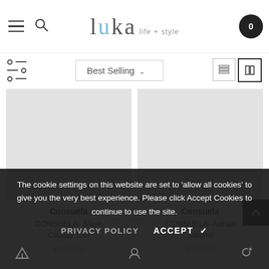luka life + style — navigation header with hamburger menu, search icon, logo, and cart
Best Selling
[Figure (screenshot): Product card image placeholder for Consuela CONSUELA- Slash Classic Tote, grey rectangle]
[Figure (screenshot): Product card image placeholder for Consuela CONSUELA- Adrian Satchel, grey rectangle]
Consuela
CONSUELA- Slash Classic Tote
$295.00
Consuela
CONSUELA- Adrian Satchel
$475.00
The cookie settings on this website are set to 'allow all cookies' to give you the very best experience. Please click Accept Cookies to continue to use the site.
PRIVACY POLICY   ACCEPT ✓